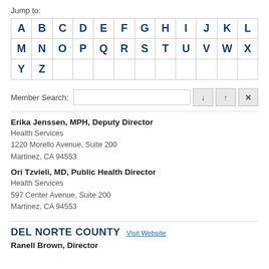Jump to:
A B C D E F G H I J K L M N O P Q R S T U V W X Y Z
Member Search:
Erika Jenssen, MPH, Deputy Director
Health Services
1220 Morello Avenue, Suite 200
Martinez, CA 94553
Ori Tzvieli, MD, Public Health Director
Health Services
597 Center Avenue, Suite 200
Martinez, CA 94553
DEL NORTE COUNTY
Ranell Brown, Director